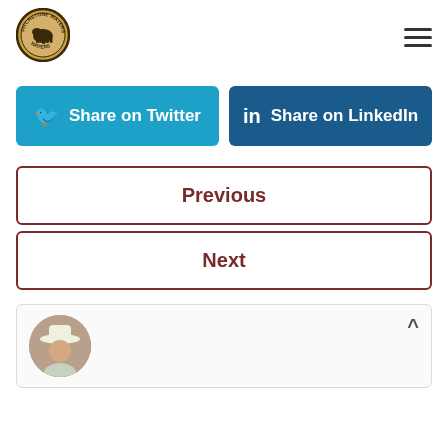[Figure (logo): Pitchstone Waters circular logo with bison illustration and text around the border]
Share on Twitter
Share on LinkedIn
Previous
Next
[Figure (photo): Circular author avatar photo showing a man in a white cowboy hat]